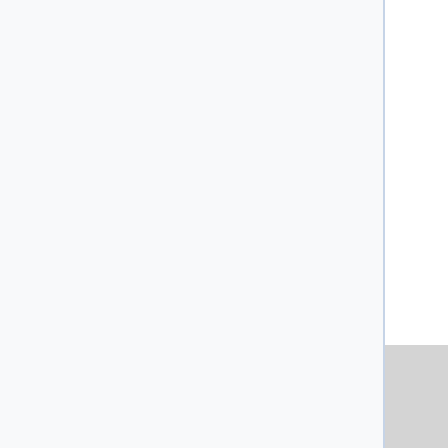| Name | Articles | Date | ... |
| --- | --- | --- | --- |
| isgd_6 +/- | (... of 2013-05-20) | 2... |
| jdem-cz +/- | 1,424,052 | 2015 1... |
| kas-pr +/- | 114,652 | 2017 0... |
| kcy-me +/- | ? | 2015 2... |
| korta-nu +/- | ? | 2015 2... |
| l8r-it +/- | ? | 2022-... |
| lnk-sk +/- | 24,000 | 2015 2... |